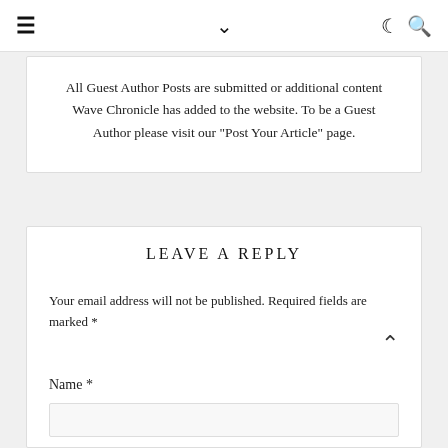≡  ∨  ☾ 🔍
All Guest Author Posts are submitted or additional content Wave Chronicle has added to the website. To be a Guest Author please visit our "Post Your Article" page.
LEAVE A REPLY
Your email address will not be published. Required fields are marked *
Name *